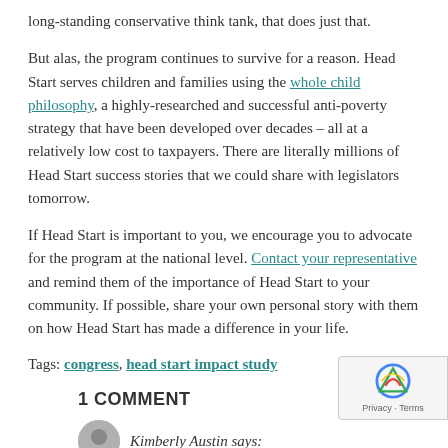long-standing conservative think tank, that does just that.
But alas, the program continues to survive for a reason. Head Start serves children and families using the whole child philosophy, a highly-researched and successful anti-poverty strategy that have been developed over decades – all at a relatively low cost to taxpayers. There are literally millions of Head Start success stories that we could share with legislators tomorrow.
If Head Start is important to you, we encourage you to advocate for the program at the national level. Contact your representative and remind them of the importance of Head Start to your community. If possible, share your own personal story with them on how Head Start has made a difference in your life.
Tags: congress, head start impact study
1 COMMENT
Kimberly Austin says:
July 11, 2018 at 8:48 am